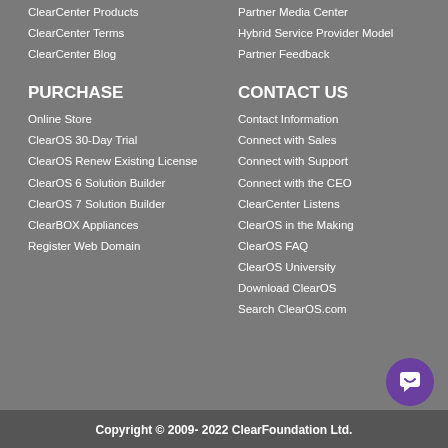ClearCenter Products
Partner Media Center
ClearCenter Terms
Hybrid Service Provider Model
ClearCenter Blog
Partner Feedback
PURCHASE
CONTACT US
Online Store
Contact Information
ClearOS 30-Day Trial
Connect with Sales
ClearOS Renew Existing License
Connect with Support
ClearOS 6 Solution Builder
Connect with the CEO
ClearOS 7 Solution Builder
ClearCenter Listens
ClearBOX Appliances
ClearOS in the Making
Register Web Domain
ClearOS FAQ
ClearOS University
Download ClearOS
Search ClearOS.com
Copyright © 2009- 2022 ClearFoundation Ltd.